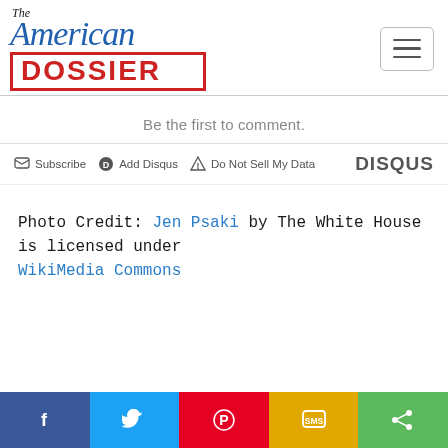[Figure (logo): The American Dossier logo with blue italic script text and red stamped DOSSIER box]
Be the first to comment.
[Figure (screenshot): Disqus comment bar with Subscribe, Add Disqus, Do Not Sell My Data links and DISQUS brand]
Photo Credit: Jen Psaki by The White House is licensed under WikiMedia Commons
[Figure (infographic): Social share bar with Facebook, Twitter, Pinterest, SMS, and Share buttons]